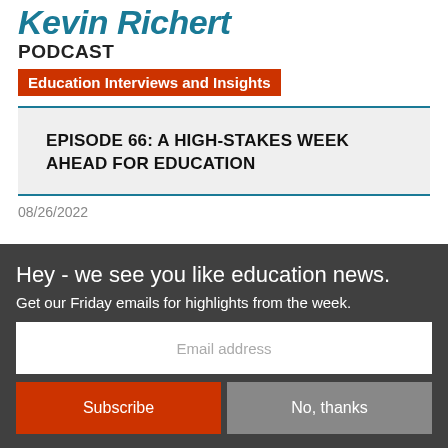Kevin Richert PODCAST
Education Interviews and Insights
EPISODE 66: A HIGH-STAKES WEEK AHEAD FOR EDUCATION
08/26/2022
Hey - we see you like education news.
Get our Friday emails for highlights from the week.
Email address
Subscribe
No, thanks